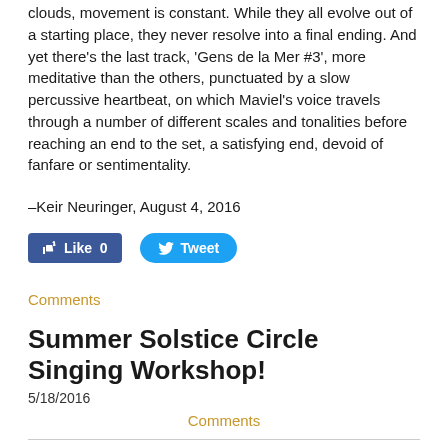clouds, movement is constant. While they all evolve out of a starting place, they never resolve into a final ending. And yet there's the last track, 'Gens de la Mer #3', more meditative than the others, punctuated by a slow percussive heartbeat, on which Maviel's voice travels through a number of different scales and tonalities before reaching an end to the set, a satisfying end, devoid of fanfare or sentimentality.
–Keir Neuringer, August 4, 2016
[Figure (other): Social media buttons: Facebook Like (0) button in blue and Twitter Tweet button in blue]
Comments
Summer Solstice Circle Singing Workshop!
5/18/2016
Comments
JUNE 21st, 5 to 7pm, Sakura Park, Morningside Heights, Make Music New
Make Music New